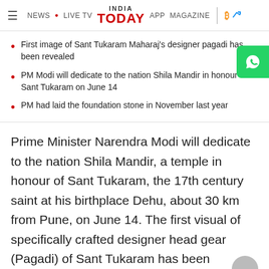NEWS • LIVE TV INDIA TODAY APP MAGAZINE
First image of Sant Tukaram Maharaj's designer pagadi has been revealed
PM Modi will dedicate to the nation Shila Mandir in honour of Sant Tukaram on June 14
PM had laid the foundation stone in November last year
Prime Minister Narendra Modi will dedicate to the nation Shila Mandir, a temple in honour of Sant Tukaram, the 17th century saint at his birthplace Dehu, about 30 km from Pune, on June 14. The first visual of specifically crafted designer head gear (Pagadi) of Sant Tukaram has been revealed.